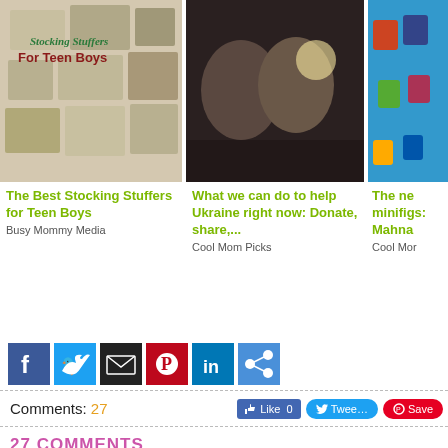[Figure (photo): Stocking Stuffers For Teen Boys collage image]
[Figure (photo): Two men photographed in low light]
[Figure (photo): LEGO minifigures on blue background, partially visible]
The Best Stocking Stuffers for Teen Boys
Busy Mommy Media
What we can do to help Ukraine right now: Donate, share,...
Cool Mom Picks
The new minifigs... Mahna...
Cool Mom...
[Figure (infographic): Social sharing icon bar: Facebook, Twitter, Email, Pinterest, LinkedIn, Share]
Comments: 27
27 COMMENTS